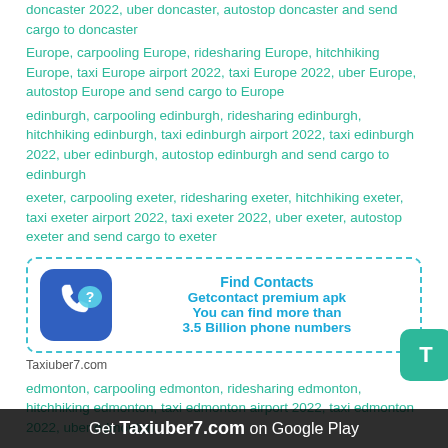doncaster 2022, uber doncaster, autostop doncaster and send cargo to doncaster
Europe, carpooling Europe, ridesharing Europe, hitchhiking Europe, taxi Europe airport 2022, taxi Europe 2022, uber Europe, autostop Europe and send cargo to Europe
edinburgh, carpooling edinburgh, ridesharing edinburgh, hitchhiking edinburgh, taxi edinburgh airport 2022, taxi edinburgh 2022, uber edinburgh, autostop edinburgh and send cargo to edinburgh
exeter, carpooling exeter, ridesharing exeter, hitchhiking exeter, taxi exeter airport 2022, taxi exeter 2022, uber exeter, autostop exeter and send cargo to exeter
[Figure (infographic): Ad box with dashed border showing a phone/contact icon and text: Find Contacts, Getcontact premium apk, You can find more than 3.5 Billion phone numbers]
Taxiuber7.com
edmonton, carpooling edmonton, ridesharing edmonton, hitchhiking edmonton, taxi edmonton airport 2022, taxi edmonton 2022, uber edmonton
Get Taxiuber7.com on Google Play